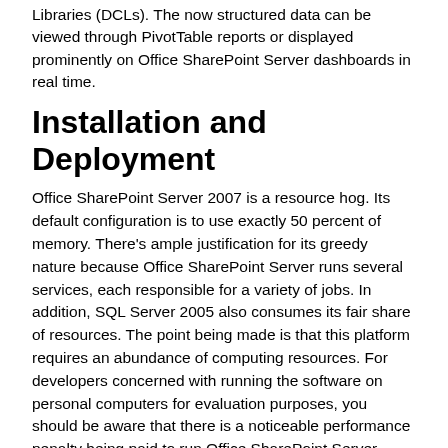Libraries (DCLs). The now structured data can be viewed through PivotTable reports or displayed prominently on Office SharePoint Server dashboards in real time.
Installation and Deployment
Office SharePoint Server 2007 is a resource hog. Its default configuration is to use exactly 50 percent of memory. There's ample justification for its greedy nature because Office SharePoint Server runs several services, each responsible for a variety of jobs. In addition, SQL Server 2005 also consumes its fair share of resources. The point being made is that this platform requires an abundance of computing resources. For developers concerned with running the software on personal computers for evaluation purposes, you should be aware that there is a noticeable performance penalty being paid to run Office SharePoint Server 2007.